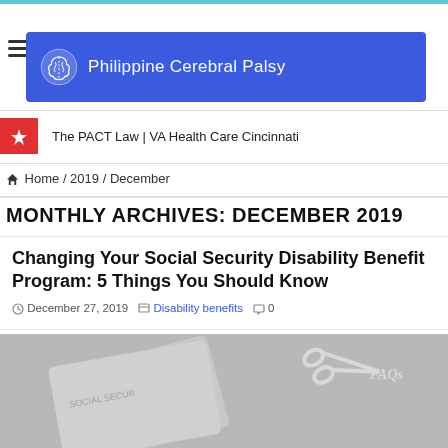Philippine Cerebral Palsy
The PACT Law | VA Health Care Cincinnati
Home / 2019 / December
MONTHLY ARCHIVES: DECEMBER 2019
Changing Your Social Security Disability Benefit Program: 5 Things You Should Know
December 27, 2019   Disability benefits   0
[Figure (photo): Grayscale photo showing a social security card being cut by scissors, with 'FAQs' watermark text in the upper right corner.]